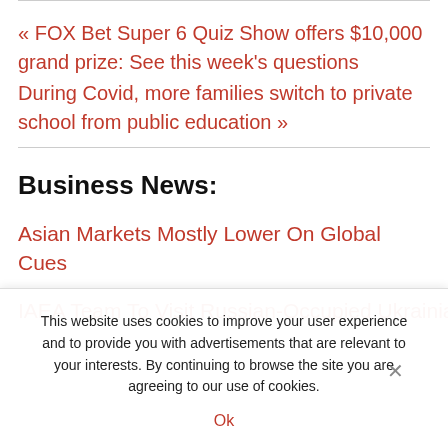« FOX Bet Super 6 Quiz Show offers $10,000 grand prize: See this week's questions
During Covid, more families switch to private school from public education »
Business News:
Asian Markets Mostly Lower On Global Cues
IAEA Team To Visit Russian-Occupied Ukrainian Nuk...
This website uses cookies to improve your user experience and to provide you with advertisements that are relevant to your interests. By continuing to browse the site you are agreeing to our use of cookies.
Ok